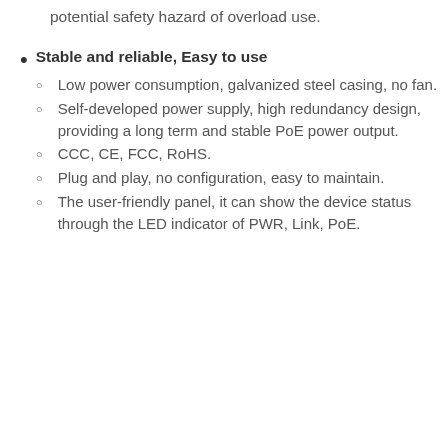potential safety hazard of overload use.
Stable and reliable, Easy to use
Low power consumption, galvanized steel casing, no fan.
Self-developed power supply, high redundancy design, providing a long term and stable PoE power output.
CCC, CE, FCC, RoHS.
Plug and play, no configuration, easy to maintain.
The user-friendly panel, it can show the device status through the LED indicator of PWR, Link, PoE.